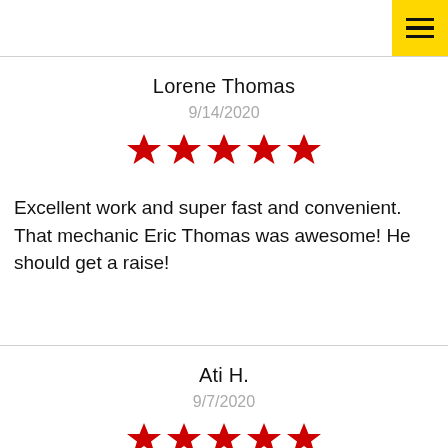Lorene Thomas
9/14/2020
[Figure (other): 5 red stars rating]
Excellent work and super fast and convenient. That mechanic Eric Thomas was awesome! He should get a raise!
Ati H.
9/7/2020
[Figure (other): 5 red stars rating]
Amazing experience! Recommend to everyone Bradenton area, i got a 9 o'clock appointment and i was out at 9:40. Everthing is done, no